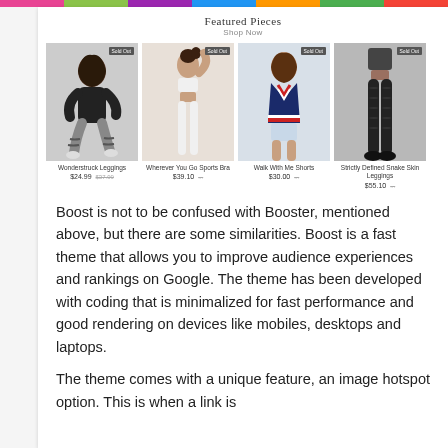[Figure (screenshot): E-commerce website screenshot showing 'Featured Pieces' section with four sold-out athletic/fashion clothing products: Wonderstruck Leggings, Wherever You Go Sports Bra, Walk With Me Shorts, Strictly Defined Snake Skin Leggings, each with prices shown.]
Boost is not to be confused with Booster, mentioned above, but there are some similarities. Boost is a fast theme that allows you to improve audience experiences and rankings on Google. The theme has been developed with coding that is minimalized for fast performance and good rendering on devices like mobiles, desktops and laptops.
The theme comes with a unique feature, an image hotspot option. This is when a link is